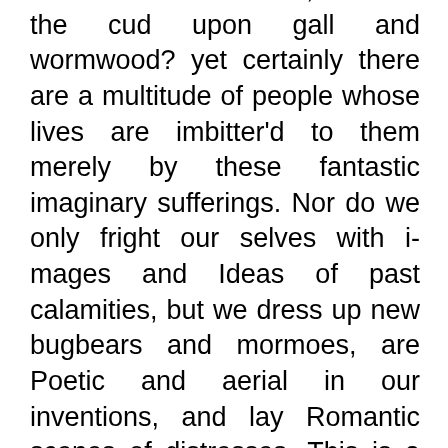relish still in his mouth, to chew the cud upon gall and wormwood? yet certainly there are a multitude of people whose lives are imbitter'd to them merely by these fantastic imaginary sufferings. Nor do we only fright our selves with images and Ideas of past calamities, but we dress up new bugbears and mormoes, are Poetic and aerial in our inventions, and lay Romantic scenes of distresses. This is a thing very incident to jealous natures, who are alwaies raising alarms to themselves. A suspicious man looks on every body with dread. One man he fears has designs upon his fortune, another on his reputation, perhaps a third upon his life: whilst in the mean time